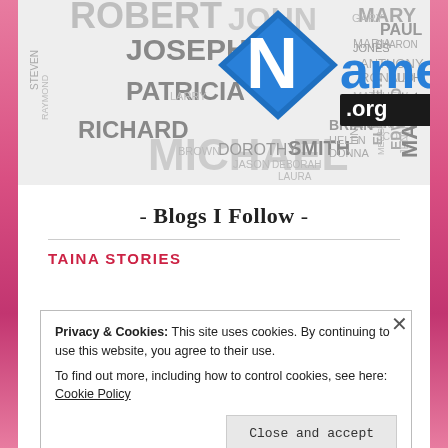[Figure (infographic): Names.org logo and word cloud featuring common names like Robert, John, Mary, Joseph, Patricia, Richard, Michael, Smith, Dorothy, Elizabeth, Mark, Brian, Edward, Jennifer, etc. in varying sizes and colors (gray, dark gray, blue, white).]
- Blogs I Follow -
TAINA STORIES
Privacy & Cookies: This site uses cookies. By continuing to use this website, you agree to their use.
To find out more, including how to control cookies, see here: Cookie Policy
Close and accept